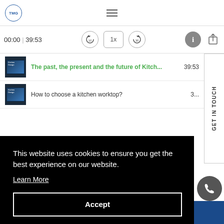TMG logo and hamburger menu navigation
00:00 | 39:53
The past, the present and the future of Kitch... 39:53
How to choose a kitchen worktop? 3...
GET IN TOUCH
This website uses cookies to ensure you get the best experience on our website.
Learn More
Accept
RETAIL STORE